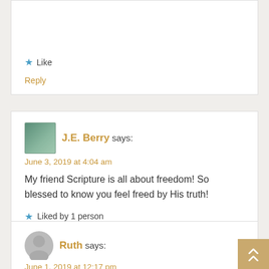Like
Reply
J.E. Berry says:
June 3, 2019 at 4:04 am
My friend Scripture is all about freedom! So blessed to know you feel freed by His truth!
Liked by 1 person
Reply
Ruth says:
June 1, 2019 at 12:17 pm
Great perspective! I need to remember to view